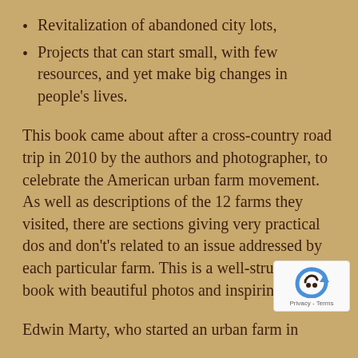Revitalization of abandoned city lots,
Projects that can start small, with few resources, and yet make big changes in people’s lives.
This book came about after a cross-country road trip in 2010 by the authors and photographer, to celebrate the American urban farm movement. As well as descriptions of the 12 farms they visited, there are sections giving very practical dos and don’ts related to an issue addressed by each particular farm. This is a well-structured book with beautiful photos and inspiring stories.
Edwin Marty, who started an urban farm in